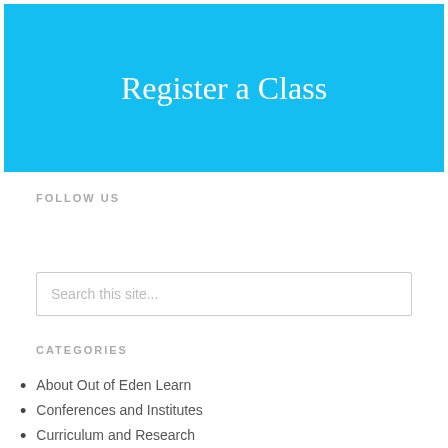Register a Class
FOLLOW US
Search this site...
CATEGORIES
About Out of Eden Learn
Conferences and Institutes
Curriculum and Research
In classrooms
Journalism